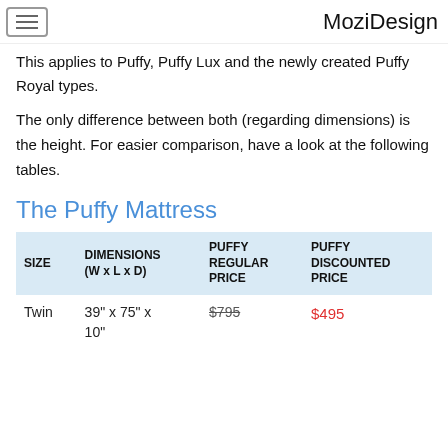MoziDesign
This applies to Puffy, Puffy Lux and the newly created Puffy Royal types.
The only difference between both (regarding dimensions) is the height. For easier comparison, have a look at the following tables.
The Puffy Mattress
| SIZE | DIMENSIONS (W x L x D) | PUFFY REGULAR PRICE | PUFFY DISCOUNTED PRICE |
| --- | --- | --- | --- |
| Twin | 39" x 75" x 10" | $795 | $495 |